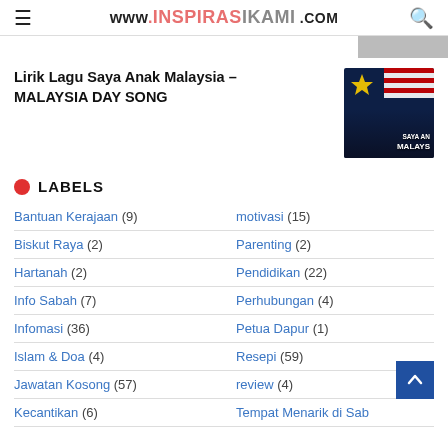www.INSPIRASIKAMI.com
[Figure (screenshot): Partially visible thumbnail strip at top right]
Lirik Lagu Saya Anak Malaysia - MALAYSIA DAY SONG
[Figure (photo): Article thumbnail image with Malaysian flag and SAYA ANAK MALAYSIA text on dark background]
LABELS
Bantuan Kerajaan (9)
motivasi (15)
Biskut Raya (2)
Parenting (2)
Hartanah (2)
Pendidikan (22)
Info Sabah (7)
Perhubungan (4)
Infomasi (36)
Petua Dapur (1)
Islam & Doa (4)
Resepi (59)
Jawatan Kosong (57)
review (4)
Kecantikan (6)
Tempat Menarik di Sab...